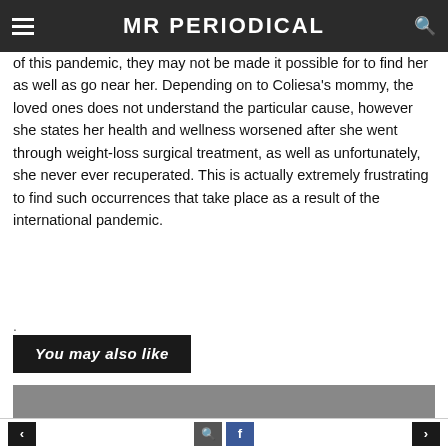MR PERIODICAL
of this pandemic, they may not be made it possible for to find her as well as go near her. Depending on to Coliesa’s mommy, the loved ones does not understand the particular cause, however she states her health and wellness worsened after she went through weight-loss surgical treatment, as well as unfortunately, she never ever recuperated. This is actually extremely frustrating to find such occurrences that take place as a result of the international pandemic.
.
You may also like
[Figure (photo): Gray placeholder image box for a related article thumbnail]
< [search] [facebook] >